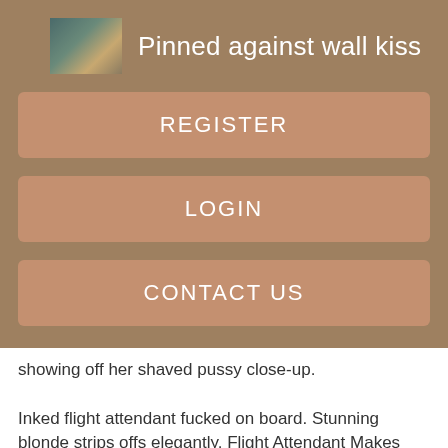Pinned against wall kiss
REGISTER
LOGIN
CONTACT US
showing off her shaved pussy close-up.
Inked flight attendant fucked on board. Stunning blonde strips offs elegantly. Flight Attendant Makes Him Cum! Chubby mom strips off for some leisure. Flight attendant with natural boobies.
Recommended for you
Horny babe Sheena Shaw busy stripping and showing off her beautiful ass. Alluring teen Anne strips teasing and shows off